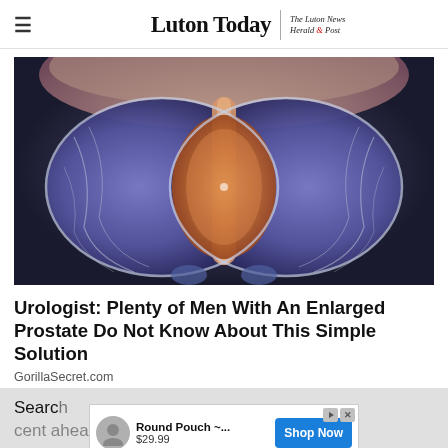Luton Today | The Luton News Herald & Post
[Figure (illustration): Medical illustration of an enlarged prostate gland cross-section, showing anatomical detail in blue and orange tones against a dark background.]
Urologist: Plenty of Men With An Enlarged Prostate Do Not Know About This Simple Solution
GorillaSecret.com
Search ... per cent ahead of National Vegetarian Week this
[Figure (screenshot): Banner advertisement showing Round Pouch product for $29.99 with a Shop Now button in blue.]